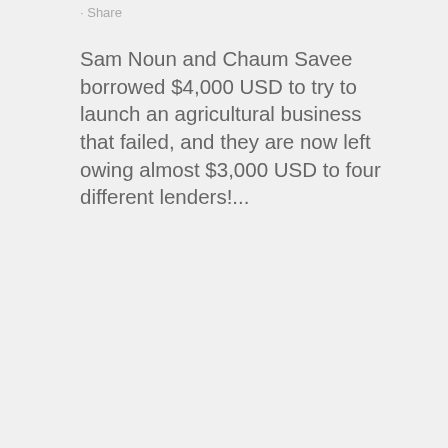· Share
Sam Noun and Chaum Savee borrowed $4,000 USD to try to launch an agricultural business that failed, and they are now left owing almost $3,000 USD to four different lenders!...
READ MORE
[Figure (photo): A colorful market scene with red signage and text in a Southeast Asian script, showing people and market goods.]